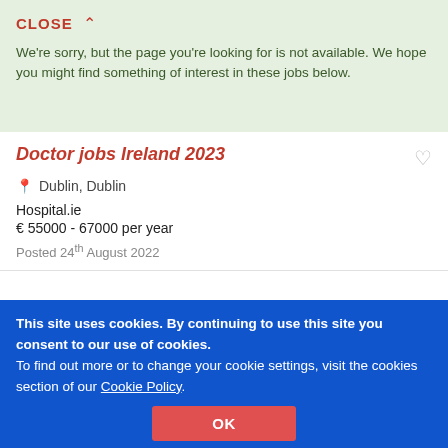CLOSE ∧
We're sorry, but the page you're looking for is not available. We hope you might find something of interest in these jobs below.
Doctor jobs Ireland 2023
Dublin, Dublin
Hospital.ie
€ 55000 - 67000 per year
Posted 24th August 2022
General Practitioner - GP Ireland
Donegal, Donegal
This site uses cookies. By continuing to use this site you consent to our use of cookies.
To find out more or to change your cookie settings, visit the cookies section of our Cookie Policy.
OK